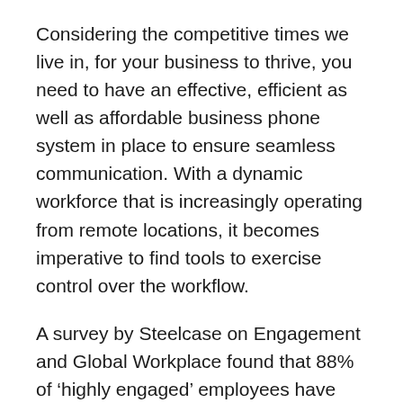Considering the competitive times we live in, for your business to thrive, you need to have an effective, efficient as well as affordable business phone system in place to ensure seamless communication. With a dynamic workforce that is increasingly operating from remote locations, it becomes imperative to find tools to exercise control over the workflow.
A survey by Steelcase on Engagement and Global Workplace found that 88% of ‘highly engaged’ employees have control over their workplace. Different modes of communication offer varying degrees of reliability and control. VoIP (Voice over Internet Protocol) allows a high degree of integration and control in the contemporary workplace